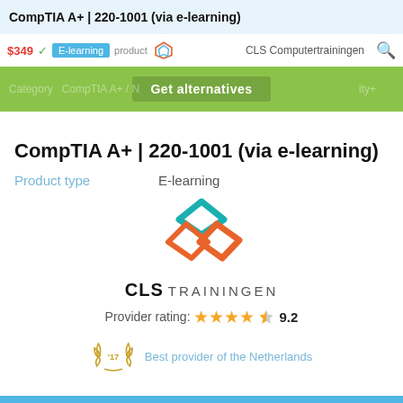CompTIA A+ | 220-1001 (via e-learning)
$349  ✓  E-learning  product  CLS Computertrainingen
Category  CompTIA A+ / N  Get alternatives  ity+
CompTIA A+ | 220-1001 (via e-learning)
Product type    E-learning
[Figure (logo): CLS Trainingen logo: geometric diamond/arrow shapes in teal and orange, with text CLS TRAININGEN below]
Provider rating: ★★★★½ 9.2
'17  Best provider of the Netherlands